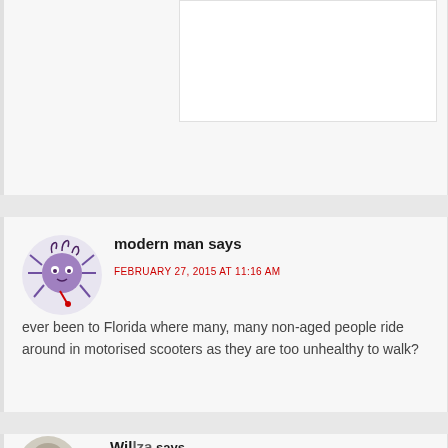modern man says
FEBRUARY 27, 2015 AT 11:16 AM
ever been to Florida where many, many non-aged people ride around in motorised scooters as they are too unhealthy to walk?